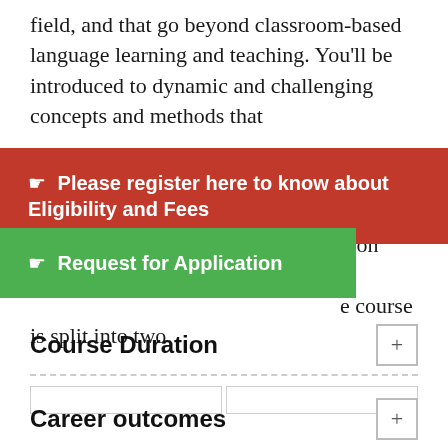field, and that go beyond classroom-based language learning and teaching. You'll be introduced to dynamic and challenging concepts and methods that
☛ Please register here to know about Eligibility and Fees
☛ Request for Application
y on your current e course is split into two
Course Duration
|  |
Career outcomes
This Professional Doctorate will give you the unique opportunity to research an issue or problem of particular significance to your practice, demonstrating your leadership and developing your